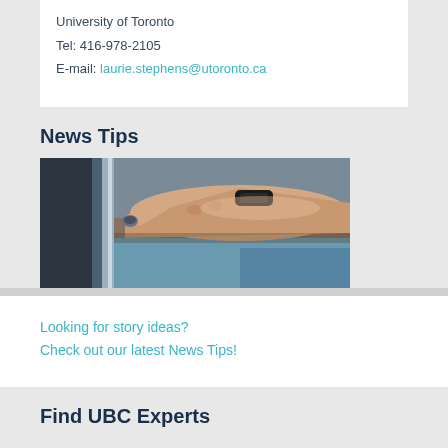University of Toronto
Tel: 416-978-2105
E-mail: laurie.stephens@utoronto.ca
News Tips
[Figure (photo): A person's hand with a black wristband touching or pressing a button on a device, close-up photo.]
Looking for story ideas?
Check out our latest News Tips!
Find UBC Experts